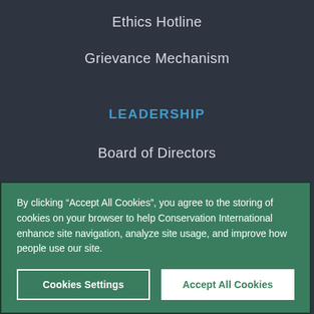Ethics Hotline
Grievance Mechanism
LEADERSHIP
Board of Directors
Senior Staff
Leadership Council
Fellows
By clicking “Accept All Cookies”, you agree to the storing of cookies on your browser to help Conservation International enhance site navigation, analyze site usage, and improve how people use our site.